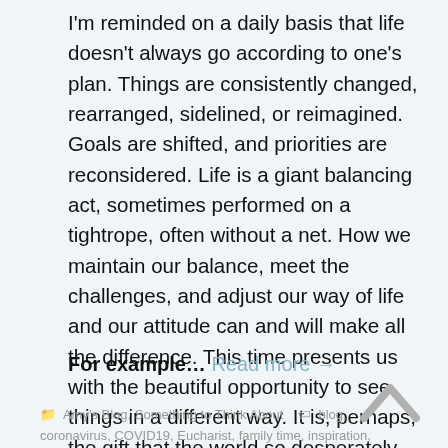I'm reminded on a daily basis that life doesn't always go according to one's plan. Things are consistently changed, rearranged, sidelined, or reimagined. Goals are shifted, and priorities are reconsidered. Life is a giant balancing act, sometimes performed on a tightrope, often without a net. How we maintain our balance, meet the challenges, and adjust our way of life and our attitude can and will make all the difference. This time presents us with the beautiful opportunity to see things in a different way. It is, perhaps, the gift that the world so desperately needs.
For example… Read more →
[Figure (other): Upward-pointing chevron/caret arrow icon in grey]
Amy's Blog, Something to Think About   blog, coronavirus, COVID19, Eucharist, family time, inspiration,